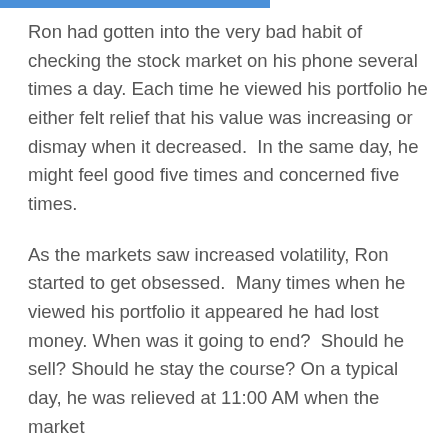Ron had gotten into the very bad habit of checking the stock market on his phone several times a day. Each time he viewed his portfolio he either felt relief that his value was increasing or dismay when it decreased.  In the same day, he might feel good five times and concerned five times.
As the markets saw increased volatility, Ron started to get obsessed.  Many times when he viewed his portfolio it appeared he had lost money. When was it going to end?  Should he sell? Should he stay the course? On a typical day, he was relieved at 11:00 AM when the market